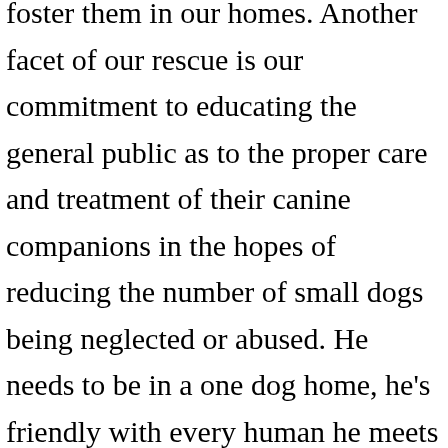foster them in our homes. Another facet of our rescue is our commitment to educating the general public as to the proper care and treatment of their canine companions in the hopes of reducing the number of small dogs being neglected or abused. He needs to be in a one dog home, he's friendly with every human he meets but he's a little scared of dogs … Some Small Dog Rescue of Northern Colorado's Adoption Process Areas Farfel's Rescue Serves. While our hearts lie with the giant breeds, our mission is to save dogs from death,